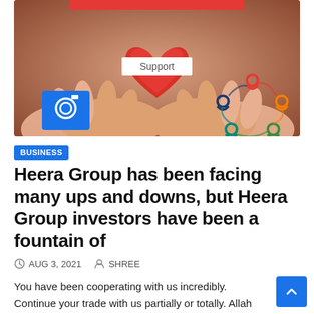[Figure (photo): Hands holding a red heart shape with 'Support' text label on it, blue camera icon overlay on left, colorful circular people icons on right]
BUSINESS
Heera Group has been facing many ups and downs, but Heera Group investors have been a fountain of
AUG 3, 2021   SHREE
You have been cooperating with us incredibly.
Continue your trade with us partially or totally. Allah